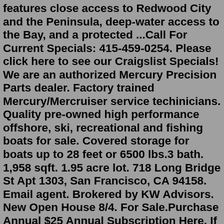features close access to Redwood City and the Peninsula, deep-water access to the Bay, and a protected ...Call For Current Specials: 415-459-0254. Please click here to see our Craigslist Specials! We are an authorized Mercury Precision Parts dealer. Factory trained Mercury/Mercruiser service techinicians. Quality pre-owned high performance offshore, ski, recreational and fishing boats for sale. Covered storage for boats up to 28 feet or 6500 lbs.3 bath. 1,958 sqft. 1.95 acre lot. 718 Long Bridge St Apt 1303, San Francisco, CA 94158. Email agent. Brokered by KW Advisors. New Open House 8/4. For Sale.Purchase Annual $25 Annual Subscription Here. If you would like to add a new available boat slip to the map click on the + in the upper right corner of the map. Here is an image of the screen you should see after you click on the +. This map was designed to give private boat slip owners the ability to rent their boat slips similar to VRBO but ...There are 106 new and used boats for sale in San Francisco , California. Find boats of all types and price ranges on